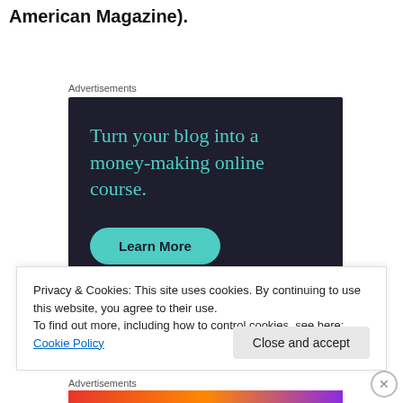American Magazine).
Advertisements
[Figure (other): Advertisement banner with dark navy background. Text reads 'Turn your blog into a money-making online course.' with a teal 'Learn More' button.]
Privacy & Cookies: This site uses cookies. By continuing to use this website, you agree to their use.
To find out more, including how to control cookies, see here: Cookie Policy
Advertisements